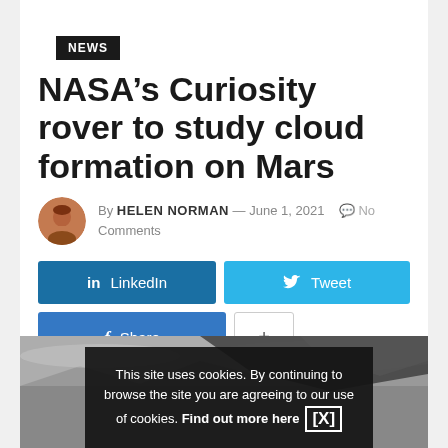NEWS
NASA’s Curiosity rover to study cloud formation on Mars
By HELEN NORMAN — June 1, 2021  💬 No Comments
[Figure (infographic): Social sharing buttons: LinkedIn, Tweet, Share (Facebook), and a + button]
[Figure (photo): Grayscale photo of Mars surface clouds, partially obscured by a cookie consent overlay bar reading: This site uses cookies. By continuing to browse the site you are agreeing to our use of cookies. Find out more here [X]]